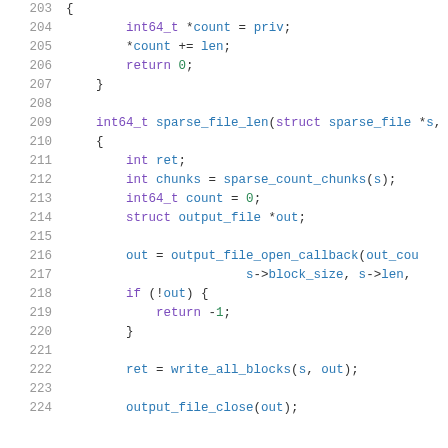[Figure (screenshot): Source code listing in C, lines 203-224, showing a callback function body and the sparse_file_len function definition with variable declarations and function calls.]